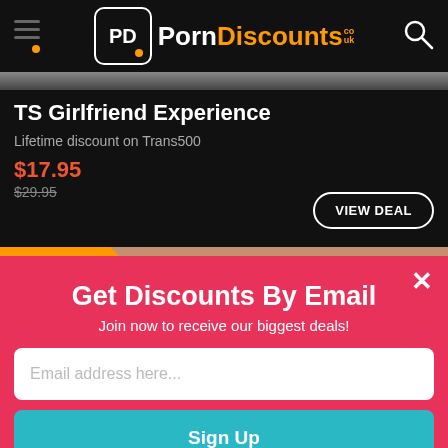[Figure (screenshot): PornDiscounts.co.uk website header with logo, hamburger menu, and search icon on black background]
TS Girlfriend Experience
Lifetime discount on Trans500
$17.95
$29.95
VIEW DEAL
DISCOUNT
13%
Get Discounts By Email
Join now to receive our biggest deals!
Email address here...
Sign Up